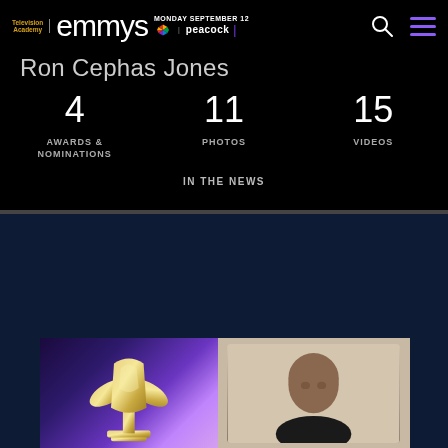Television Academy | emmys MONDAY SEPTEMBER 12 NBC | peacock
Ron Cephas Jones
4 AWARDS & NOMINATIONS
11 PHOTOS
15 VIDEOS
IN THE NEWS
[Figure (photo): Emmy Award trophy statue against purple/blue background on left; person wearing glasses in a video frame on right]